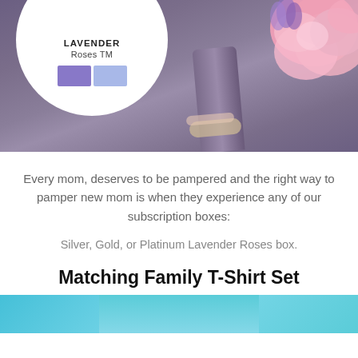[Figure (photo): Photo of lavender roses with purple-toned background, pink flowers on the right side. A white circular overlay shows color swatches (purple and light blue) with text 'Lavender Roses TM'.]
Every mom, deserves to be pampered and the right way to pamper new mom is when they experience any of our subscription boxes:
Silver, Gold, or Platinum Lavender Roses box.
Matching Family T-Shirt Set
[Figure (photo): Partial view of another product photo with blue/cyan background, bottom of the page.]